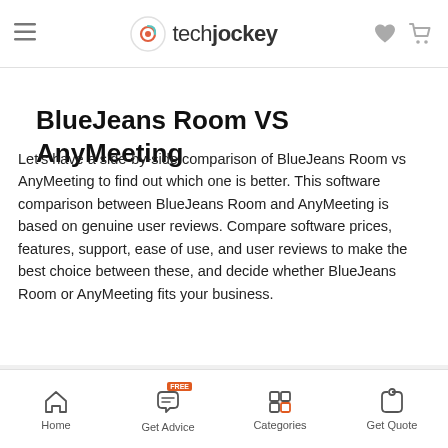techjockey
BlueJeans Room VS AnyMeeting
Let's have a side-by-side comparison of BlueJeans Room vs AnyMeeting to find out which one is better. This software comparison between BlueJeans Room and AnyMeeting is based on genuine user reviews. Compare software prices, features, support, ease of use, and user reviews to make the best choice between these, and decide whether BlueJeans Room or AnyMeeting fits your business.
[Figure (logo): BlueJeans Room logo — blue square with white B and video camera icon]
[Figure (logo): AnyMeeting logo — text logo with headset icon]
Home | Get Advice | Categories | Get Quote